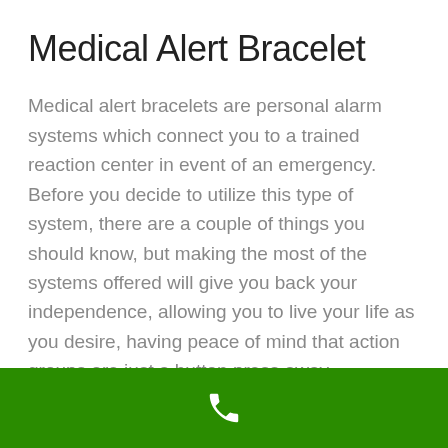Medical Alert Bracelet
Medical alert bracelets are personal alarm systems which connect you to a trained reaction center in event of an emergency. Before you decide to utilize this type of system, there are a couple of things you should know, but making the most of the systems offered will give you back your independence, allowing you to live your life as you desire, having peace of mind that action groups are just a button press away.
With personal health ending up being more vital
[Figure (illustration): Green footer bar with white phone/call icon centered]